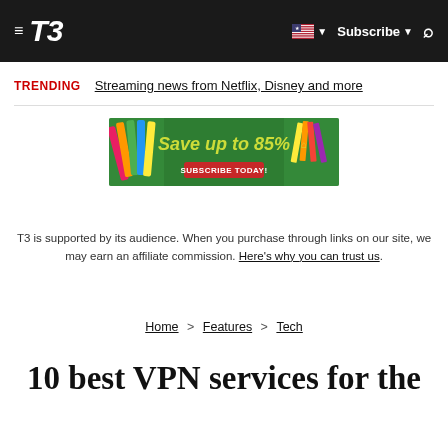T3 | Subscribe
TRENDING  Streaming news from Netflix, Disney and more
[Figure (photo): Advertisement banner: Save up to 85% - Subscribe Today! with school supplies background]
T3 is supported by its audience. When you purchase through links on our site, we may earn an affiliate commission. Here's why you can trust us.
Home > Features > Tech
10 best VPN services for the